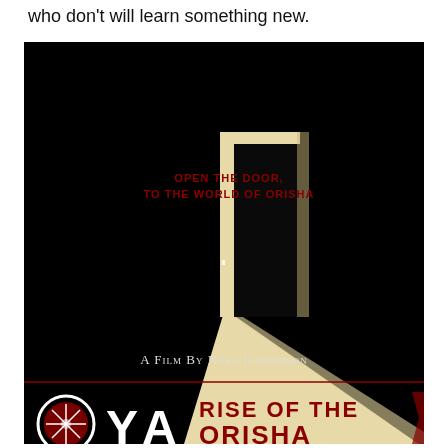who don't will learn something new.
[Figure (illustration): Movie poster for 'OYA: Rise of the Orisha' directed by Nosa Igbinedion. Black background with a minimalist image of a door ajar, showing a beam of cream/beige light streaming from beneath and through it. Red italic text near top reads 'OPEN THE DOOR, TO THE WORLD OF ORISHA'. White small-caps text in center reads 'A Film By Nosa Igbinedion'. At the bottom, large stylized title text: 'OYA' in white with a decorative circular emblem on the O, followed by 'RISE OF THE ORISHA' in dark red/maroon letters.]